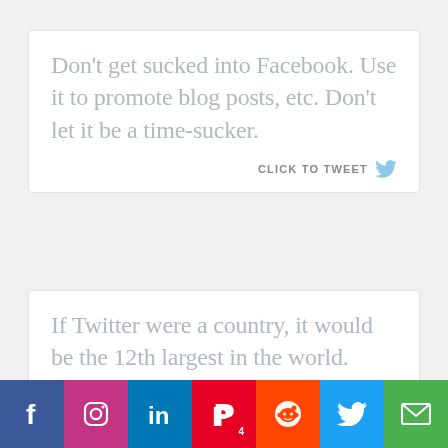Don't get sucked into Facebook. Use it to promote blog posts, etc. Don't let it be a time-sucker.
CLICK TO TWEET
If Twitter were a country, it would be the 12th largest in the world. #tweets #Twitter
CLICK TO TWEET
[Figure (infographic): Social media sharing bar with icons for Facebook, Instagram, LinkedIn, Pinterest, Reddit, Twitter, and Email]